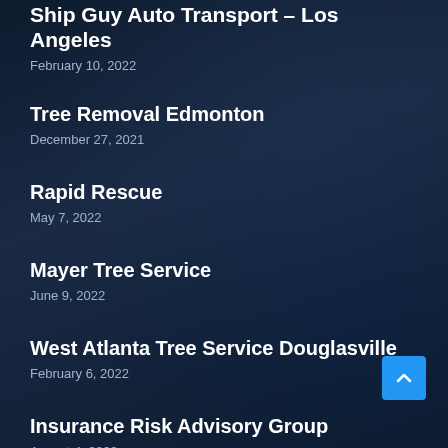Ship Guy Auto Transport – Los Angeles
February 10, 2022
Tree Removal Edmonton
December 27, 2021
Rapid Rescue
May 7, 2022
Mayer Tree Service
June 9, 2022
West Atlanta Tree Service Douglasville
February 6, 2022
Insurance Risk Advisory Group
August 4, 2022